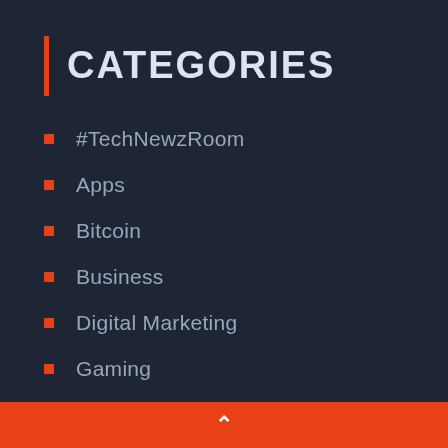CATEGORIES
#TechNewzRoom
Apps
Bitcoin
Business
Digital Marketing
Gaming
General
How To
Mobile